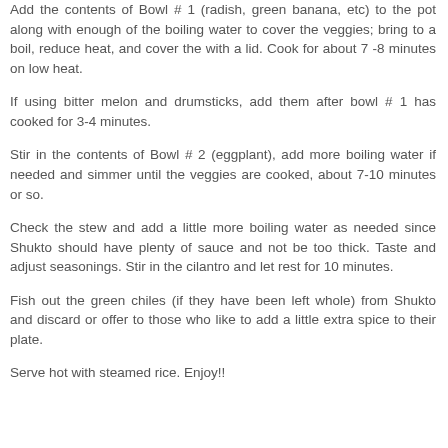Add the contents of Bowl # 1 (radish, green banana, etc) to the pot along with enough of the boiling water to cover the veggies; bring to a boil, reduce heat, and cover the with a lid. Cook for about 7 -8 minutes on low heat.
If using bitter melon and drumsticks, add them after bowl # 1 has cooked for 3-4 minutes.
Stir in the contents of Bowl # 2 (eggplant), add more boiling water if needed and simmer until the veggies are cooked, about 7-10 minutes or so.
Check the stew and add a little more boiling water as needed since Shukto should have plenty of sauce and not be too thick. Taste and adjust seasonings. Stir in the cilantro and let rest for 10 minutes.
Fish out the green chiles (if they have been left whole) from Shukto and discard or offer to those who like to add a little extra spice to their plate.
Serve hot with steamed rice. Enjoy!!